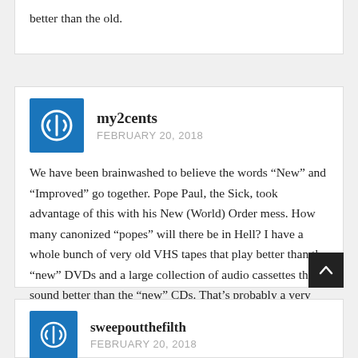better than the old.
my2cents
FEBRUARY 20, 2018
We have been brainwashed to believe the words “New” and “Improved” go together. Pope Paul, the Sick, took advantage of this with his New (World) Order mess. How many canonized “popes” will there be in Hell? I have a whole bunch of very old VHS tapes that play better than the “new” DVDs and a large collection of audio cassettes that sound better than the “new” CDs. That’s probably a very poor example, but I couldn’t resist.
sweepoutthefilth
FEBRUARY 20, 2018